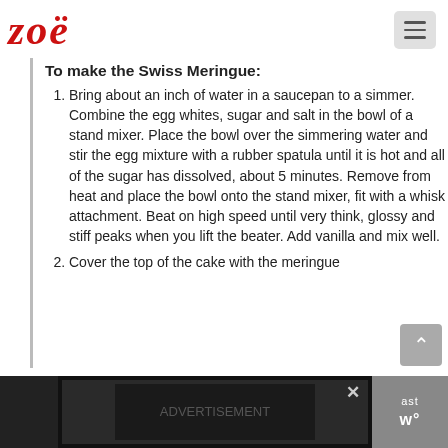zoë
To make the Swiss Meringue:
Bring about an inch of water in a saucepan to a simmer. Combine the egg whites, sugar and salt in the bowl of a stand mixer. Place the bowl over the simmering water and stir the egg mixture with a rubber spatula until it is hot and all of the sugar has dissolved, about 5 minutes. Remove from heat and place the bowl onto the stand mixer, fit with a whisk attachment. Beat on high speed until very think, glossy and stiff peaks when you lift the beater. Add vanilla and mix well.
Cover the top of the cake with the meringue